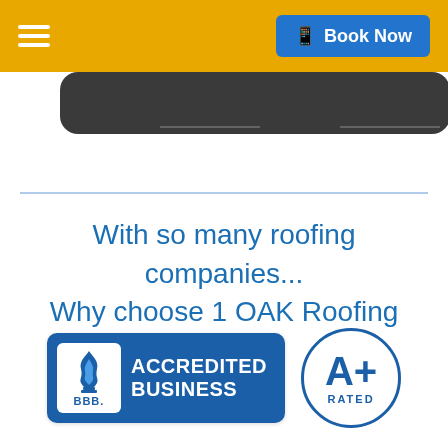≡  Book Now
[Figure (photo): Partial view of a dark rooftop edge against white background]
With so many roofing companies... Why choose 1 OAK Roofing
[Figure (logo): BBB Accredited Business A+ Rated badge]